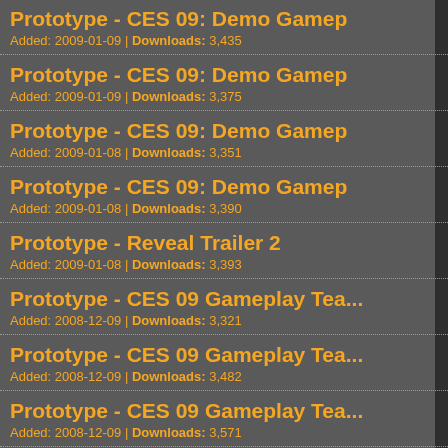Prototype - CES 09: Demo Game... Added: 2009-01-09 | Downloads: 3,435
Prototype - CES 09: Demo Game... Added: 2009-01-09 | Downloads: 3,375
Prototype - CES 09: Demo Game... Added: 2009-01-08 | Downloads: 3,351
Prototype - CES 09: Demo Game... Added: 2009-01-08 | Downloads: 3,390
Prototype - Reveal Trailer 2 Added: 2009-01-08 | Downloads: 3,393
Prototype - CES 09 Gameplay Tea... Added: 2008-12-09 | Downloads: 3,321
Prototype - CES 09 Gameplay Tea... Added: 2008-12-09 | Downloads: 3,482
Prototype - CES 09 Gameplay Tea... Added: 2008-12-09 | Downloads: 3,571